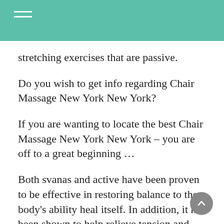stretching exercises that are passive.
Do you wish to get info regarding Chair Massage New York New York?
If you are wanting to locate the best Chair Massage New York New York – you are off to a great beginning …
Both svanas and active have been proven to be effective in restoring balance to the body's ability heal itself. In addition, it has been shown to help relieve tension and improve flexibility, increase the flow of energy and